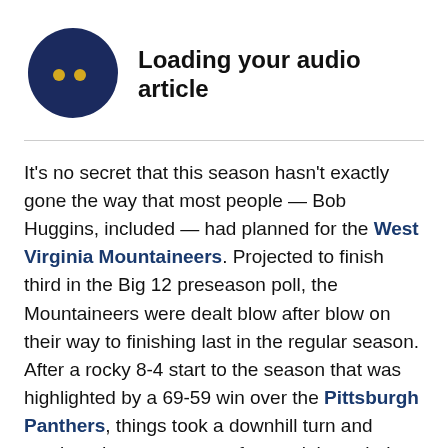[Figure (illustration): Dark navy blue circle with two small yellow/gold dots in the center, resembling an audio loading indicator]
Loading your audio article
It's no secret that this season hasn't exactly gone the way that most people — Bob Huggins, included — had planned for the West Virginia Mountaineers. Projected to finish third in the Big 12 preseason poll, the Mountaineers were dealt blow after blow on their way to finishing last in the regular season. After a rocky 8-4 start to the season that was highlighted by a 69-59 win over the Pittsburgh Panthers, things took a downhill turn and continued to careen out of control through the Mountaineers' Big 12 conference schedule.